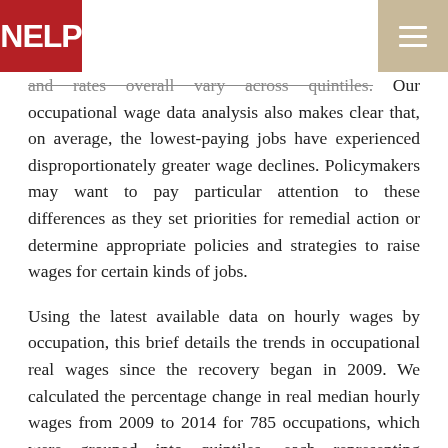NELP
and rates overall vary across quintiles. Our occupational wage data analysis also makes clear that, on average, the lowest-paying jobs have experienced disproportionately greater wage declines. Policymakers may want to pay particular attention to these differences as they set priorities for remedial action or determine appropriate policies and strategies to raise wages for certain kinds of jobs.
Using the latest available data on hourly wages by occupation, this brief details the trends in occupational real wages since the recovery began in 2009. We calculated the percentage change in real median hourly wages from 2009 to 2014 for 785 occupations, which were grouped into quintiles, each representing approximately one-fifth of total employment in